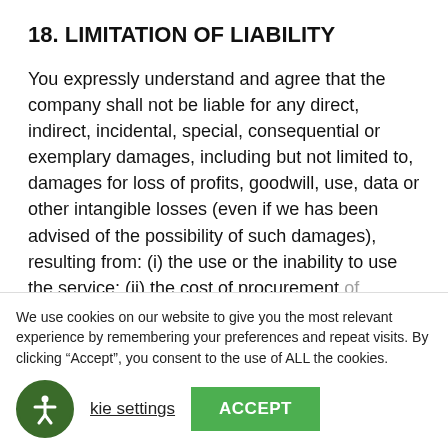18. LIMITATION OF LIABILITY
You expressly understand and agree that the company shall not be liable for any direct, indirect, incidental, special, consequential or exemplary damages, including but not limited to, damages for loss of profits, goodwill, use, data or other intangible losses (even if we has been advised of the possibility of such damages), resulting from: (i) the use or the inability to use the service; (ii) the cost of procurement of substitute goods and services resulting from any
We use cookies on our website to give you the most relevant experience by remembering your preferences and repeat visits. By clicking “Accept”, you consent to the use of ALL the cookies.
kie settings  ACCEPT